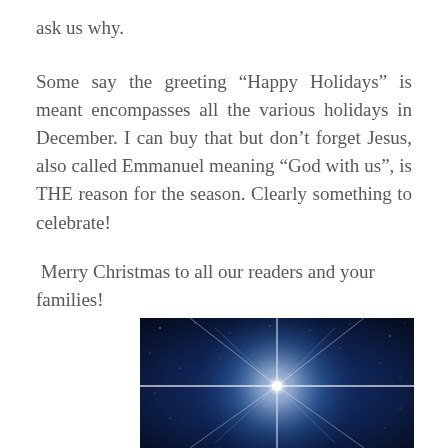ask us why.
Some say the greeting “Happy Holidays” is meant encompasses all the various holidays in December. I can buy that but don’t forget Jesus, also called Emmanuel meaning “God with us”, is THE reason for the season. Clearly something to celebrate!
Merry Christmas to all our readers and your families!
[Figure (photo): A bright star of Bethlehem shining against a dark blue night sky with rays of light spreading outward, small stars scattered in the background.]